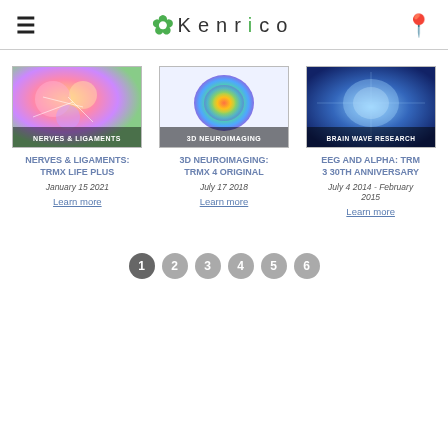Kenrico
[Figure (screenshot): Kenrico website screenshot showing three article cards with images and links]
NERVES & LIGAMENTS: TRMX LIFE PLUS
January 15 2021
Learn more
3D NEUROIMAGING: TRMX 4 ORIGINAL
July 17 2018
Learn more
EEG AND ALPHA: TRM 3 30TH ANNIVERSARY
July 4 2014 - February 2015
Learn more
1 2 3 4 5 6